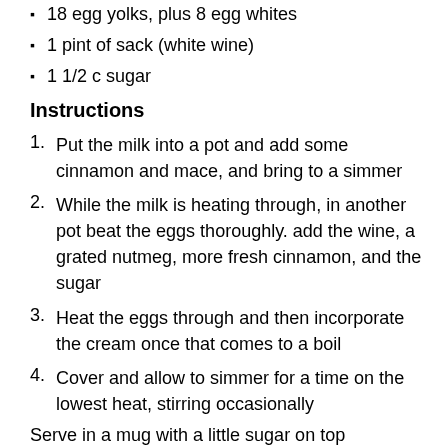18 egg yolks, plus 8 egg whites
1 pint of sack (white wine)
1 1/2 c sugar
Instructions
Put the milk into a pot and add some cinnamon and mace, and bring to a simmer
While the milk is heating through, in another pot beat the eggs thoroughly. add the wine, a grated nutmeg, more fresh cinnamon, and the sugar
Heat the eggs through and then incorporate the cream once that comes to a boil
Cover and allow to simmer for a time on the lowest heat, stirring occasionally
Serve in a mug with a little sugar on top